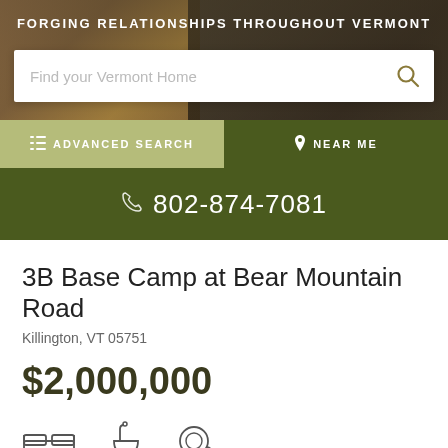[Figure (screenshot): Hero image showing wooden logs/cabin background with dark overlay]
FORGING RELATIONSHIPS THROUGHOUT VERMONT
Find your Vermont Home
ADVANCED SEARCH
NEAR ME
802-874-7081
3B Base Camp at Bear Mountain Road
Killington, VT 05751
$2,000,000
[Figure (illustration): Property feature icons: bed, bath, area/tape measure]